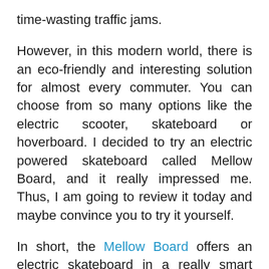time-wasting traffic jams.
However, in this modern world, there is an eco-friendly and interesting solution for almost every commuter. You can choose from so many options like the electric scooter, skateboard or hoverboard. I decided to try an electric powered skateboard called Mellow Board, and it really impressed me. Thus, I am going to review it today and maybe convince you to try it yourself.
In short, the Mellow Board offers an electric skateboard in a really smart way. You can buy their Drive Set which you can put on your own board (yes, you can make your own electric powered skateboard) or you can buy their fully prepared electric boards in the form of skateboard or longboard.